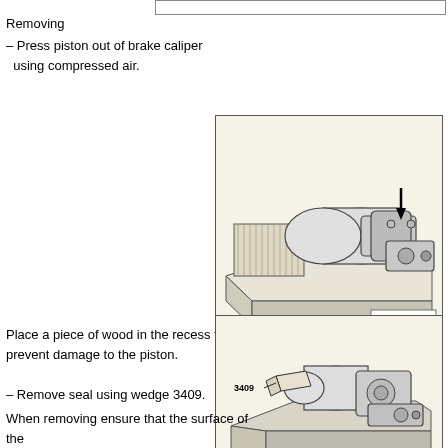Removing
– Press piston out of brake caliper using compressed air.
[Figure (engineering-diagram): Technical illustration of a brake caliper mounted on a workbench block with a piece of wood in the recess. A black arrow points downward toward the piston area. Reference number S47-0051 shown in lower right corner.]
Place a piece of wood in the recess to prevent damage to the piston.
[Figure (engineering-diagram): Technical illustration of a brake caliper held in a vise/clamp showing the seal removal procedure using wedge tool 3409. Reference number N47-0040 shown in lower right corner. Label '3409' points to the wedge tool.]
– Remove seal using wedge 3409.
When removing ensure that the surface of the cylinder is not damaged.